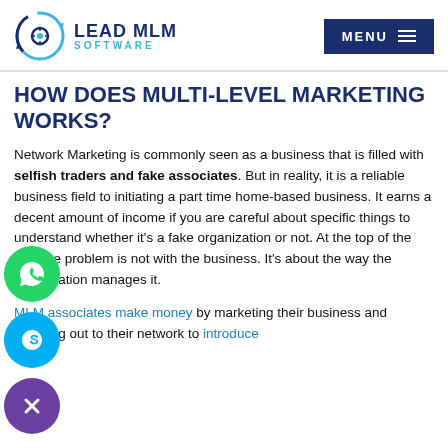LEAD MLM SOFTWARE  MENU
HOW DOES MULTI-LEVEL MARKETING WORKS?
Network Marketing is commonly seen as a business that is filled with selfish traders and fake associates. But in reality, it is a reliable business field to initiating a part time home-based business. It earns a decent amount of income if you are careful about specific things to understand whether it’s a fake organization or not. At the top of the day, the problem is not with the business. It’s about the way the organization manages it.
MLM associates make money by marketing their business and reaching out to their network to introduce